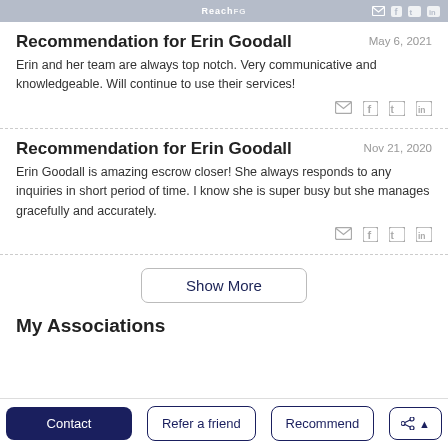ReachFG [social icons]
Recommendation for Erin Goodall
May 6, 2021
Erin and her team are always top notch. Very communicative and knowledgeable. Will continue to use their services!
Recommendation for Erin Goodall
Nov 21, 2020
Erin Goodall is amazing escrow closer! She always responds to any inquiries in short period of time. I know she is super busy but she manages gracefully and accurately.
Show More
My Associations
Contact | Refer a friend | Recommend | Share